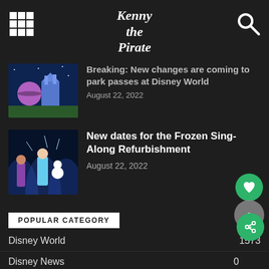Kenny the Pirate
Breaking: New changes are coming to park passes at Disney World
August 22, 2022
New dates for the Frozen Sing-Along Refurbishment
August 22, 2022
POPULAR CATEGORY
Disney World 1573
Disney News 0
Disney Planning Tips 916
Disney Entertainment 857
Epcot 728